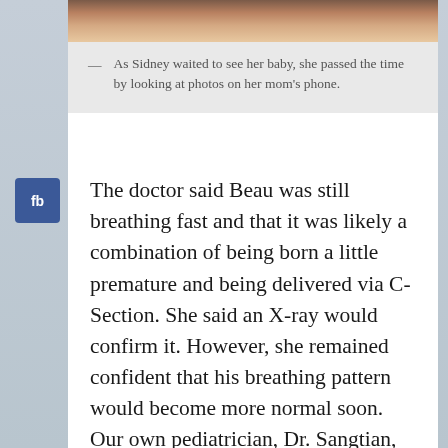[Figure (photo): Cropped photo showing a person, partially visible at the top of the page]
— As Sidney waited to see her baby, she passed the time by looking at photos on her mom's phone.
The doctor said Beau was still breathing fast and that it was likely a combination of being born a little premature and being delivered via C-Section. She said an X-ray would confirm it. However, she remained confident that his breathing pattern would become more normal soon. Our own pediatrician, Dr. Sangtian, who is a complete rock star at what he does, was out of the country and not returning soon—he was being held in quarantine because of the Coronavirus. Despite the absence of our own